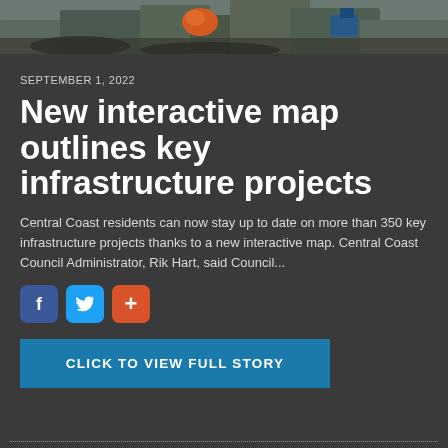[Figure (photo): Construction/excavation site photo showing rocky terrain with machinery and orange/blue equipment]
SEPTEMBER 1, 2022
New interactive map outlines key infrastructure projects
Central Coast residents can now stay up to date on more than 350 key infrastructure projects thanks to a new interactive map. Central Coast Council Administrator, Rik Hart, said Council...
[Figure (infographic): Social share buttons: Facebook (f), Twitter bird icon, and plus (+) button]
CLICK TO VIEW FULL STORY